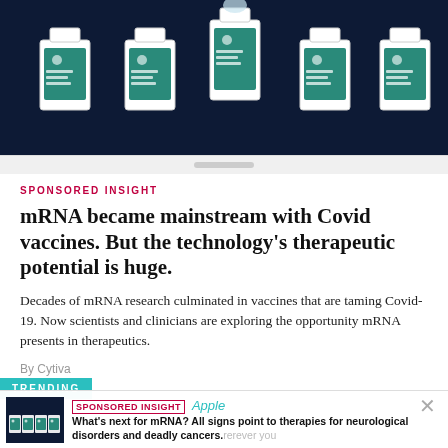[Figure (illustration): Illustration of medicine/vaccine bottles with green labels on a dark navy background]
SPONSORED INSIGHT
mRNA became mainstream with Covid vaccines. But the technology's therapeutic potential is huge.
Decades of mRNA research culminated in vaccines that are taming Covid-19. Now scientists and clinicians are exploring the opportunity mRNA presents in therapeutics.
By Cytiva
TRENDING
SPONSORED INSIGHT | Apple | What's next for mRNA? All signs point to therapies for neurological disorders and deadly cancers.